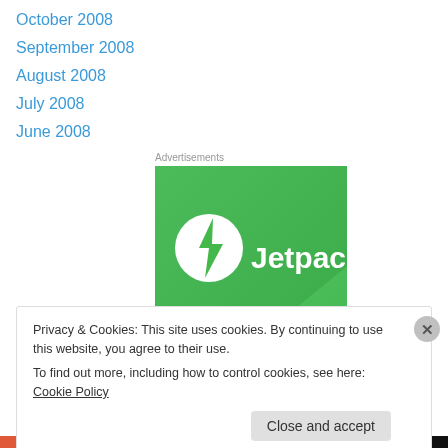October 2008
September 2008
August 2008
July 2008
June 2008
Advertisements
[Figure (logo): Jetpack logo on green background — white circle with lightning bolt icon and 'Jetpack' text in white]
Privacy & Cookies: This site uses cookies. By continuing to use this website, you agree to their use.
To find out more, including how to control cookies, see here: Cookie Policy
Close and accept